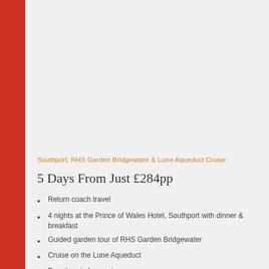Southport, RHS Garden Bridgewater & Lune Aqueduct Cruise
5 Days From Just £284pp
Return coach travel
4 nights at the Prince of Wales Hotel, Southport with dinner & breakfast
Guided garden tour of RHS Garden Bridgewater
Cruise on the Lune Aqueduct
Free time in Lancaster